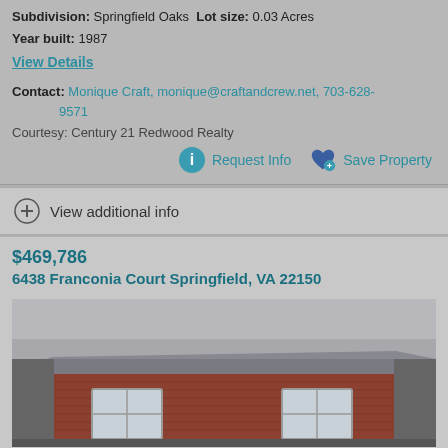Subdivision: Springfield Oaks  Lot size: 0.03 Acres
Year built: 1987
View Details
Contact: Monique Craft, monique@craftandcrew.net, 703-628-9571
Courtesy: Century 21 Redwood Realty
Request Info  Save Property
View additional info
$469,786
6438 Franconia Court Springfield, VA 22150
[Figure (photo): Exterior photo of a brick townhouse/property at 6438 Franconia Court Springfield, VA 22150, showing brick facade and white window, overcast sky]